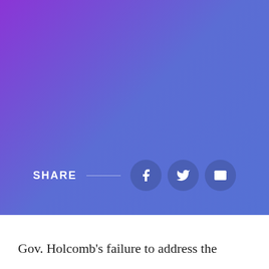[Figure (illustration): Purple to blue gradient background covering the upper portion of the page with a social media share bar at the bottom of the gradient area, containing a SHARE label, a horizontal line, and three circular social media buttons for Facebook, Twitter, and email.]
SHARE
Gov. Holcomb's failure to address the